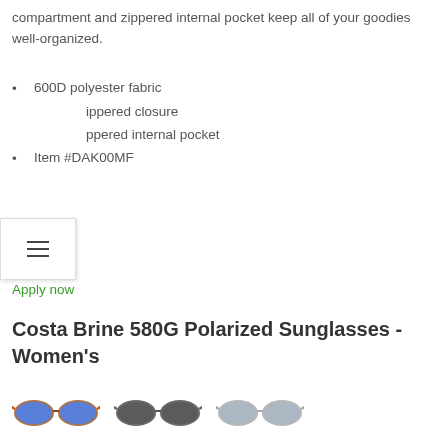compartment and zippered internal pocket keep all of your goodies well-organized.
600D polyester fabric
Zippered closure
Zippered internal pocket
Item #DAK00MF
Apply now
Costa Brine 580G Polarized Sunglasses - Women's
[Figure (photo): Three thumbnail images of Costa Brine 580G polarized sunglasses for women, showing different color variants: blue lens, dark lens, and grey lens.]